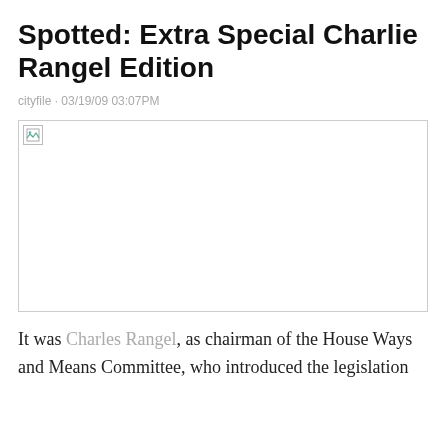Spotted: Extra Special Charlie Rangel Edition
cityfile · 03/19/09 03:07PM
[Figure (photo): Broken/missing image placeholder]
It was Charles Rangel, as chairman of the House Ways and Means Committee, who introduced the legislation